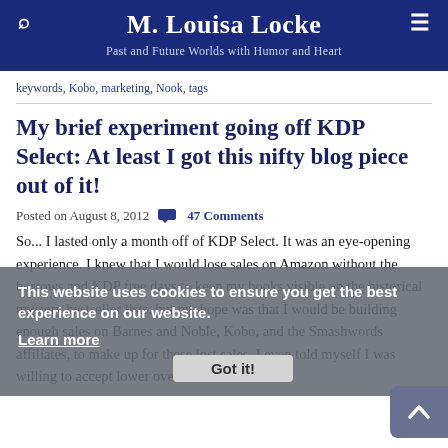M. Louisa Locke — Past and Future Worlds with Humor and Heart
keywords, Kobo, marketing, Nook, tags
My brief experiment going off KDP Select: At least I got this nifty blog piece out of it!
Posted on August 8, 2012  47 Comments
So... I lasted only a month off of KDP Select. It was an eye-opening experience. I knew that I would lose sales on Amazon without the borrows and KDP free days to keep my books visible on the historical mystery bestseller lists, but my hope was that I would be building enough sales on Barnes and Noble, Kobo, and the Smashwords affiliates, to make up for these lost sales. I even told myself I was willing to accept lower overall
This website uses cookies to ensure you get the best experience on our website.
Learn more
Got it!